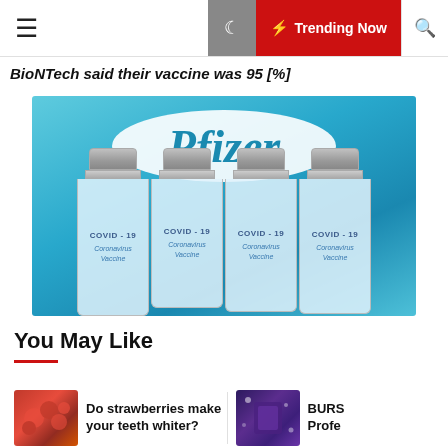Trending Now
BioNTech said their vaccine was 95 [%]
[Figure (photo): Four COVID-19 Coronavirus Vaccine vials with Pfizer logo in the background on blue background]
You May Like
Do strawberries make your teeth whiter?
BURS Profe